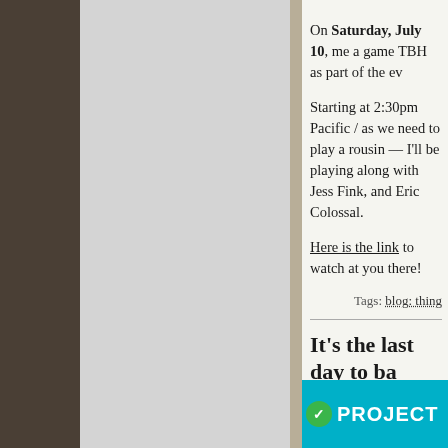On Saturday, July 10, me a game TBH as part of the ev
Starting at 2:30pm Pacific / as we need to play a rousin — I'll be playing along with Jess Fink, and Eric Colossal.
Here is the link to watch at you there!
Tags: blog: thing
It's the last day to ba
April 30th, 2021
Today's the last day to back Kickstarter!
[Figure (screenshot): Kickstarter project banner in teal/cyan with green checkmark circle and 'PROJECT' text in white]